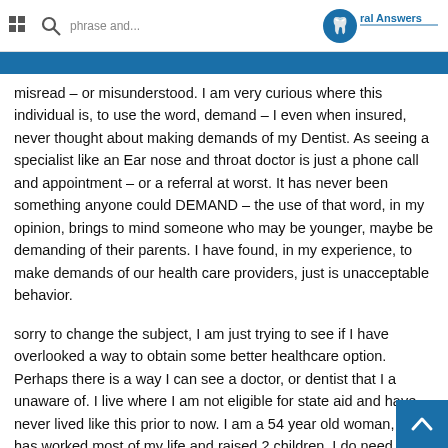Oral Answers
misread – or misunderstood. I am very curious where this individual is, to use the word, demand – I even when insured, never thought about making demands of my Dentist. As seeing a specialist like an Ear nose and throat doctor is just a phone call and appointment – or a referral at worst. It has never been something anyone could DEMAND – the use of that word, in my opinion, brings to mind someone who may be younger, maybe be demanding of their parents. I have found, in my experience, to make demands of our health care providers, just is unacceptable behavior.
sorry to change the subject, I am just trying to see if I have overlooked a way to obtain some better healthcare option. Perhaps there is a way I can see a doctor, or dentist that I a unaware of. I live where I am not eligible for state aid and have never lived like this prior to now. I am a 54 year old woman, who has worked most of my life and raised 2 children. I do need some help, or I am afraid I may lose my sight in my left eye. I had a cataract in my right eye a few years ago, which, I was told, was very early to have one in age.